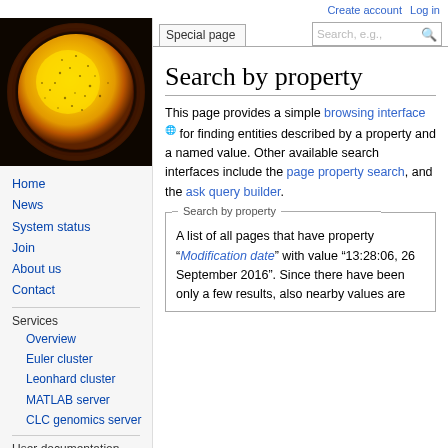Create account   Log in
[Figure (photo): Microscopy image showing a bright yellow glowing sphere/cell with orange-brown halo on black background]
Home
News
System status
Join
About us
Contact
Services
Overview
Euler cluster
Leonhard cluster
MATLAB server
CLC genomics server
User documentation
Search by property
This page provides a simple browsing interface for finding entities described by a property and a named value. Other available search interfaces include the page property search, and the ask query builder.
A list of all pages that have property "Modification date" with value "13:28:06, 26 September 2016". Since there have been only a few results, also nearby values are